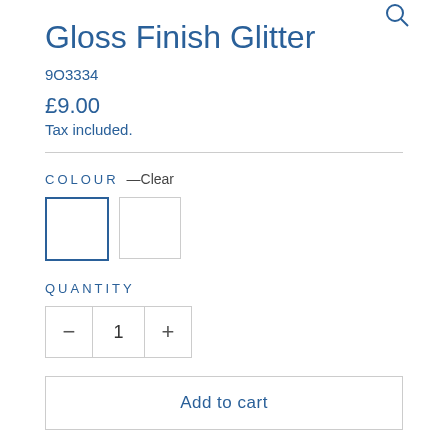[Figure (other): Search icon in top right corner]
Gloss Finish Glitter
9O3334
£9.00
Tax included.
COLOUR —Clear
[Figure (other): Two colour swatches side by side: first selected with blue border, second with light grey border]
QUANTITY
[Figure (other): Quantity selector with minus button, value 1, and plus button]
Add to cart